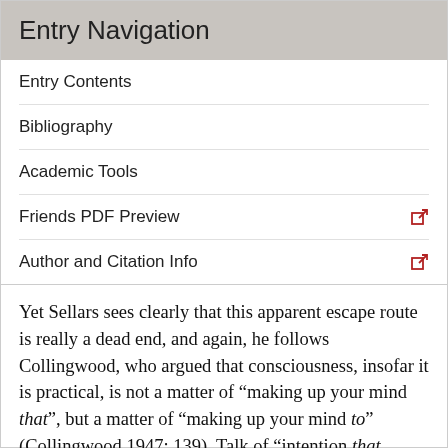Entry Navigation
Entry Contents
Bibliography
Academic Tools
Friends PDF Preview
Author and Citation Info
Yet Sellars sees clearly that this apparent escape route is really a dead end, and again, he follows Collingwood, who argued that consciousness, insofar it is practical, is not a matter of “making up your mind that”, but a matter of “making up your mind to” (Collingwood 1947: 139). Talk of “intention that something be the case”, Sellars argues, may be grammatically correct, but it is understandable as talk of practical commitments only in virtue of its relation to “intention to”. When spelled out, the intention that p is really the intention to make it the case that p (Sellars 1968: 184). Thus a person’s intention